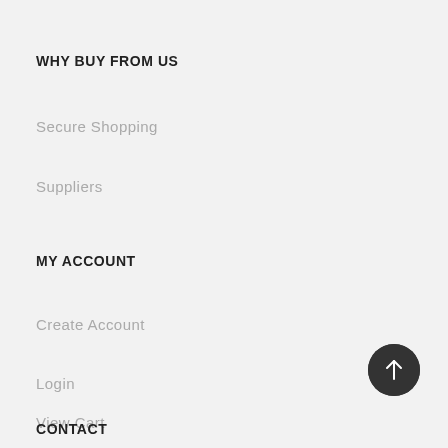WHY BUY FROM US
Secure Shopping
Suppliers
MY ACCOUNT
Create Account
Login
View Cart
[Figure (illustration): Dark circular back-to-top button with upward arrow icon, positioned bottom-right]
CONTACT